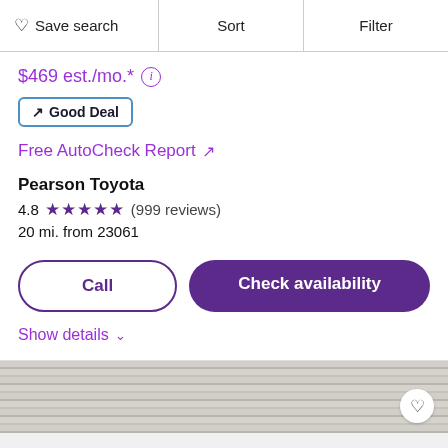Save search  Sort  Filter
$469 est./mo.*
Good Deal
Free AutoCheck Report ↗
Pearson Toyota
4.8 ★★★★★ (999 reviews)
20 mi. from 23061
Call
Check availability
Show details
[Figure (photo): Grey brick wall texture strip at bottom of page with heart/save icon in bottom right corner]